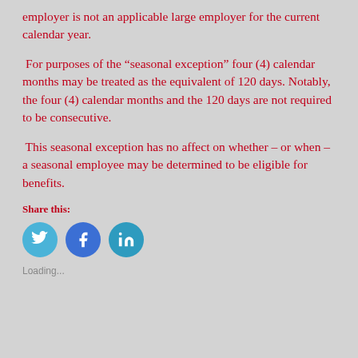employer is not an applicable large employer for the current calendar year.
For purposes of the “seasonal exception” four (4) calendar months may be treated as the equivalent of 120 days. Notably, the four (4) calendar months and the 120 days are not required to be consecutive.
This seasonal exception has no affect on whether – or when – a seasonal employee may be determined to be eligible for benefits.
Share this:
[Figure (infographic): Social media share icons: Twitter (bird), Facebook (f), LinkedIn (in) buttons as teal/blue circles]
Loading...